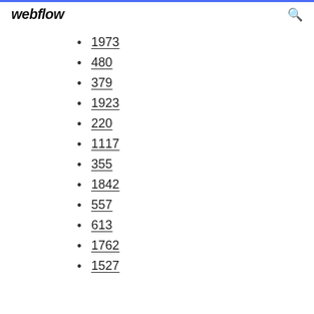webflow
1973
480
379
1923
220
1117
355
1842
557
613
1762
1527